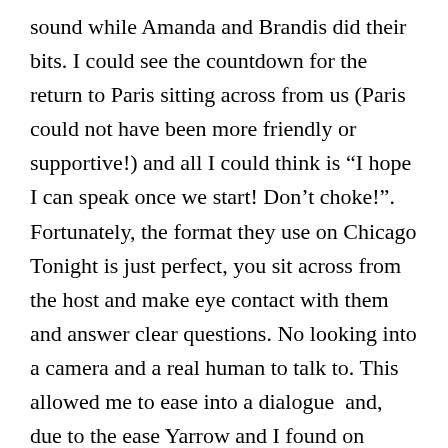sound while Amanda and Brandis did their bits. I could see the countdown for the return to Paris sitting across from us (Paris could not have been more friendly or supportive!) and all I could think is “I hope I can speak once we start! Don’t choke!”. Fortunately, the format they use on Chicago Tonight is just perfect, you sit across from the host and make eye contact with them and answer clear questions. No looking into a camera and a real human to talk to. This allowed me to ease into a dialogue  and, due to the ease Yarrow and I found on meeting, a conversation between the three of us. It all went really well. Only real flub was I found out I had been mispronouncing Utqiagvik the whole time and the locals had just been too friendly to tell me. I would like to thank Meridith Bruozas of Argonne Education who